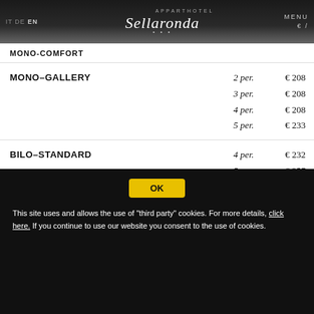IT DE EN | Apparthotel Sellaronda | MENU €/
MONO-COMFORT
| Room Type | Persons | Price |
| --- | --- | --- |
| MONO-GALLERY | 2 per. | € 208 |
| MONO-GALLERY | 3 per. | € 208 |
| MONO-GALLERY | 4 per. | € 208 |
| MONO-GALLERY | 5 per. | € 233 |
| BILO-STANDARD | 4 per. | € 232 |
| BILO-STANDARD | 5 per. | € 257 |
| BILO-COMFORT | 4 per. | € 277 |
| BILO-COMFORT | 5 per. | € 277 |
OK
This site uses and allows the use of "third party" cookies. For more details, click here. If you continue to use our website you consent to the use of cookies.